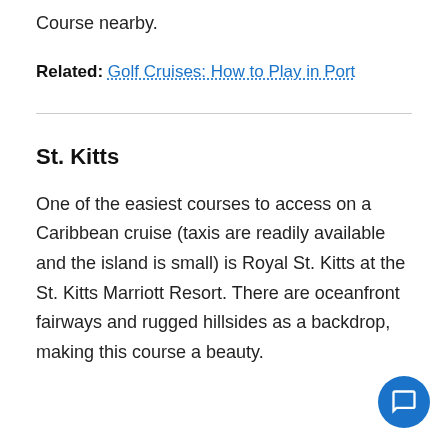Course nearby.
Related: Golf Cruises: How to Play in Port
St. Kitts
One of the easiest courses to access on a Caribbean cruise (taxis are readily available and the island is small) is Royal St. Kitts at the St. Kitts Marriott Resort. There are oceanfront fairways and rugged hillsides as a backdrop, making this course a beauty.